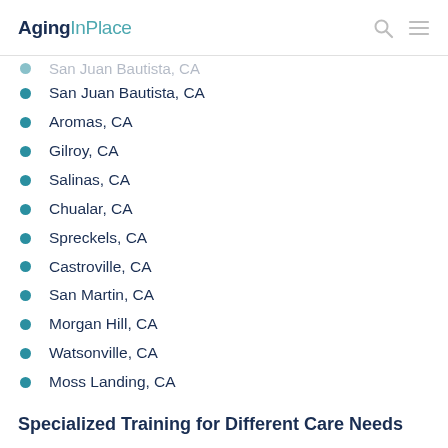AgingInPlace
San Juan Bautista, CA
Aromas, CA
Gilroy, CA
Salinas, CA
Chualar, CA
Spreckels, CA
Castroville, CA
San Martin, CA
Morgan Hill, CA
Watsonville, CA
Moss Landing, CA
Freedom, CA
Gonzales, CA
Specialized Training for Different Care Needs